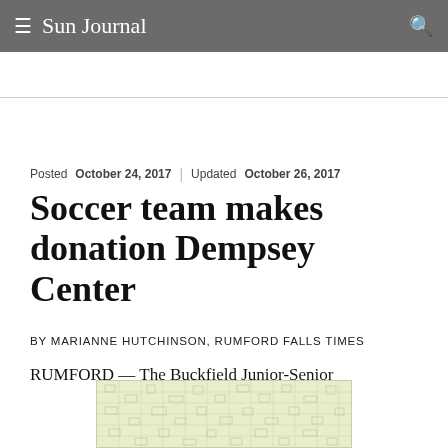Sun Journal
Posted October 24, 2017 | Updated October 26, 2017
Soccer team makes donation Dempsey Center
BY MARIANNE HUTCHINSON, RUMFORD FALLS TIMES
RUMFORD — The Buckfield Junior-Senior
[Figure (other): Advertisement banner with light green background and grid/map-like pattern]